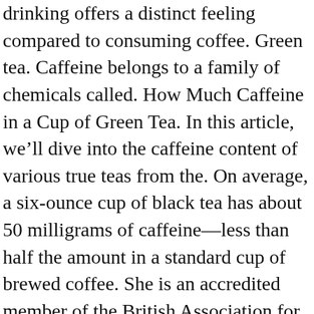drinking offers a distinct feeling compared to consuming coffee. Green tea. Caffeine belongs to a family of chemicals called. How Much Caffeine in a Cup of Green Tea. In this article, we'll dive into the caffeine content of various true teas from the. On average, a six-ounce cup of black tea has about 50 milligrams of caffeine—less than half the amount in a standard cup of brewed coffee. She is an accredited member of the British Association for Nutrition and Lifestyle Medicine (BANT) and the Complementary & Natural Healthcare Council (CNHC). Let's do a rough calculation. Just like tea, the amount of caffeine in a cup of coffee differs by the beans, the brewing process, and the type of coffee. While tea does not have as much caffeine in it as coffee or other substances, you still may find yourself affected by caffeine hours after enjoying your nice cup